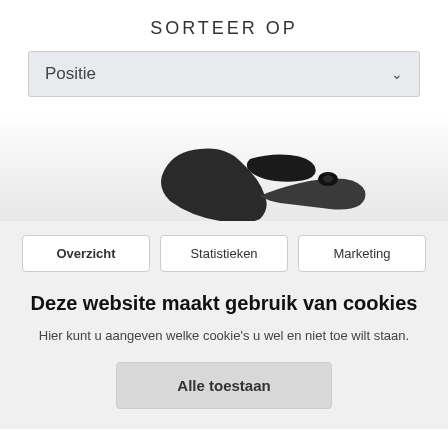SORTEER OP
Positie
[Figure (photo): Partial view of a black plastic clip or latch product on a white-to-grey gradient background]
Overzicht | Statistieken | Marketing
Deze website maakt gebruik van cookies
Hier kunt u aangeven welke cookie's u wel en niet toe wilt staan.
Alle toestaan